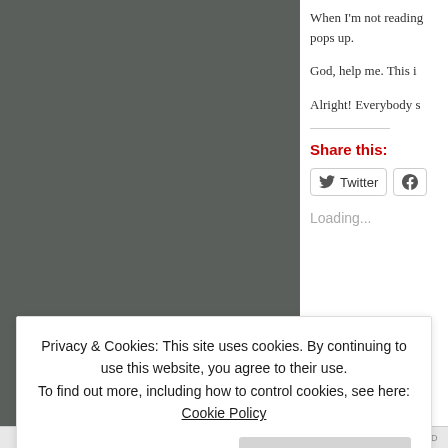[Figure (photo): Dark gray/charcoal colored background, appears to be a book cover or similar image, left side of page]
When I'm not reading pops up.
God, help me. This i
Alright! Everybody s
Share this:
Loading...
Privacy & Cookies: This site uses cookies. By continuing to use this website, you agree to their use.
To find out more, including how to control cookies, see here: Cookie Policy
Close and accept
REPORT THIS AD